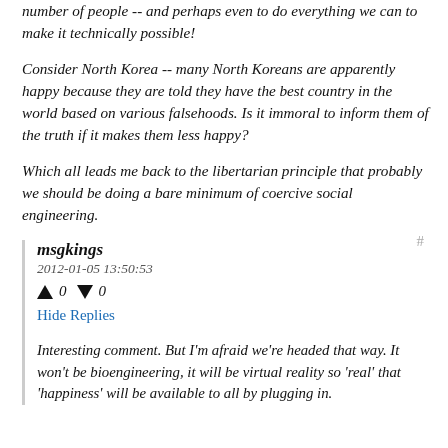number of people -- and perhaps even to do everything we can to make it technically possible!
Consider North Korea -- many North Koreans are apparently happy because they are told they have the best country in the world based on various falsehoods. Is it immoral to inform them of the truth if it makes them less happy?
Which all leads me back to the libertarian principle that probably we should be doing a bare minimum of coercive social engineering.
msgkings
2012-01-05 13:50:53
Hide Replies
Interesting comment. But I'm afraid we're headed that way. It won't be bioengineering, it will be virtual reality so 'real' that 'happiness' will be available to all by plugging in.